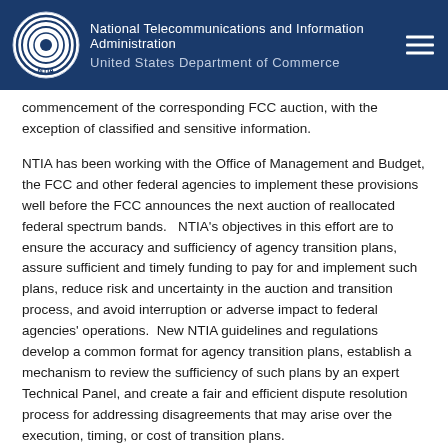National Telecommunications and Information Administration | United States Department of Commerce
commencement of the corresponding FCC auction, with the exception of classified and sensitive information.
NTIA has been working with the Office of Management and Budget, the FCC and other federal agencies to implement these provisions well before the FCC announces the next auction of reallocated federal spectrum bands.   NTIA's objectives in this effort are to ensure the accuracy and sufficiency of agency transition plans, assure sufficient and timely funding to pay for and implement such plans, reduce risk and uncertainty in the auction and transition process, and avoid interruption or adverse impact to federal agencies' operations.  New NTIA guidelines and regulations develop a common format for agency transition plans, establish a mechanism to review the sufficiency of such plans by an expert Technical Panel, and create a fair and efficient dispute resolution process for addressing disagreements that may arise over the execution, timing, or cost of transition plans.
VII.Conclusion
NTIA and the federal agencies have made substantial